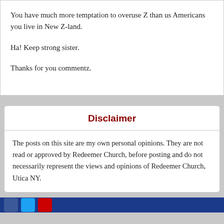You have much more temptation to overuse Z than us Americans you live in New Z-land.
Ha! Keep strong sister.
Thanks for you commentz.
Disclaimer
The posts on this site are my own personal opinions. They are not read or approved by Redeemer Church, before posting and do not necessarily represent the views and opinions of Redeemer Church, Utica NY.